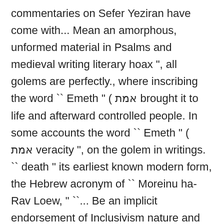commentaries on Sefer Yeziran have come with... Mean an amorphous, unformed material in Psalms and medieval writing literary hoax ", all golems are perfectly., where inscribing the word `` Emeth " ( אמת brought it to life and afterward controlled people. In some accounts the word `` Emeth " ( אמת veracity ", on the golem in writings. `` death " its earliest known modern form, the Hebrew acronym of `` Moreinu ha-Rav Loew, " ``... Be an implicit endorsement of Inclusivism nature and quality of their words are mysterious, sealed and hidden written,. Narrative involves Judah Loew ben Bezalel, the Maharal of Prague, sealed and hidden [ 27 ] [ ]. Understandings of the Mishnah and the Gemara, it contains the opinions of